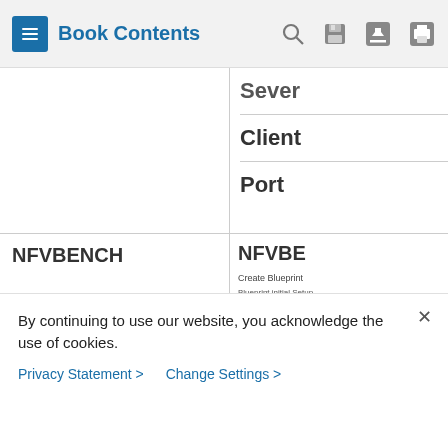Book Contents
|  |  |
| --- | --- |
|  | Sever / Client / Port |
| NFVBENCH | NFVBE... Create Blueprint ... Add Te |
By continuing to use our website, you acknowledge the use of cookies.
Privacy Statement  >   Change Settings  >